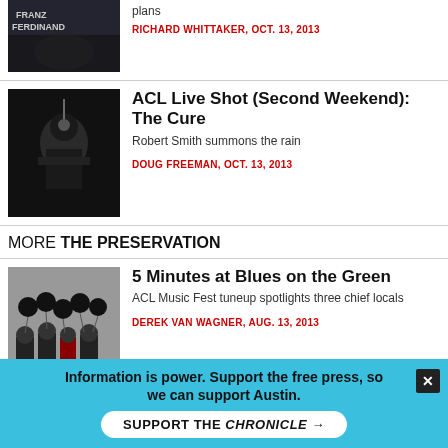[Figure (photo): Partial photo of Franz Ferdinand band at concert, dark stage with crowd]
plans
RICHARD WHITTAKER, OCT. 13, 2013
[Figure (photo): Black and white photo of Robert Smith of The Cure performing on stage]
ACL Live Shot (Second Weekend): The Cure
Robert Smith summons the rain
DOUG FREEMAN, OCT. 13, 2013
MORE THE PRESERVATION
[Figure (photo): Photo of a music group (four people) standing against a wall with black balloons]
5 Minutes at Blues on the Green
ACL Music Fest tuneup spotlights three chief locals
DEREK VAN WAGNER, AUG. 13, 2013
MORE BY MELANIE HAUPT
Information is power. Support the free press, so we can support Austin.
SUPPORT THE CHRONICLE →